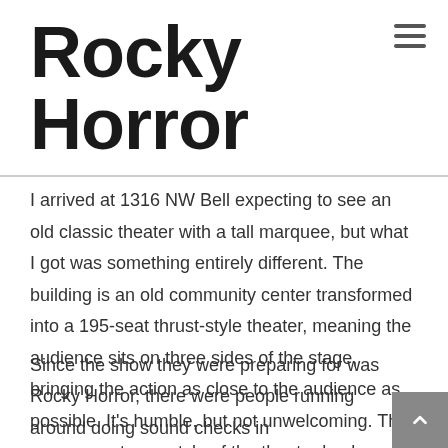Rocky Horror
I arrived at 1316 NW Bell expecting to see an old classic theater with a tall marquee, but what I got was something entirely different. The building is an old community center transformed into a 195-seat thrust-style theater, meaning the audience sits on three sides of the stage, bringing the action as close to the audience as possible. It's humble, but not unwelcoming. The unpresumptuous style of the theater beckons the arts savvy and the novice alike without judgment.
Since the show they were preparing for was Rocky Horror, there were people running around doing sound checks in